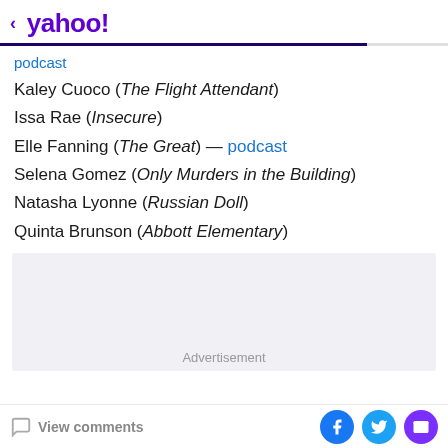< yahoo!
podcast
Kaley Cuoco (The Flight Attendant)
Issa Rae (Insecure)
Elle Fanning (The Great) — podcast
Selena Gomez (Only Murders in the Building)
Natasha Lyonne (Russian Doll)
Quinta Brunson (Abbott Elementary)
[Figure (other): Advertisement placeholder box]
View comments | Facebook share | Twitter share | Email share